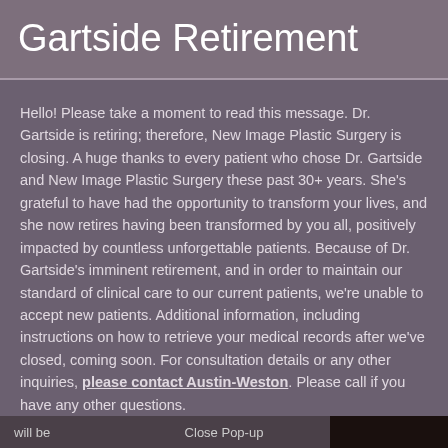Gartside Retirement
Hello! Please take a moment to read this message. Dr. Gartside is retiring; therefore, New Image Plastic Surgery is closing. A huge thanks to every patient who chose Dr. Gartside and New Image Plastic Surgery these past 30+ years. She's grateful to have had the opportunity to transform your lives, and she now retires having been transformed by you all, positively impacted by countless unforgettable patients. Because of Dr. Gartside's imminent retirement, and in order to maintain our standard of clinical care to our current patients, we're unable to accept new patients. Additional information, including instructions on how to retrieve your medical records after we've closed, coming soon. For consultation details or any other inquiries, please contact Austin-Weston. Please call if you have any other questions.
will be    Close Pop-up